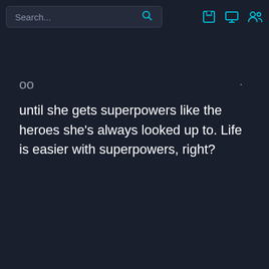[Figure (screenshot): Dark-themed app UI with a search bar at the top. The search bar contains placeholder text 'Search...' with a cyan magnifying glass icon, and three cyan toolbar icons (save, display, users) in the top-right corner.]
oo
until she gets superpowers like the heroes she’s always looked up to. Life is easier with superpowers, right?